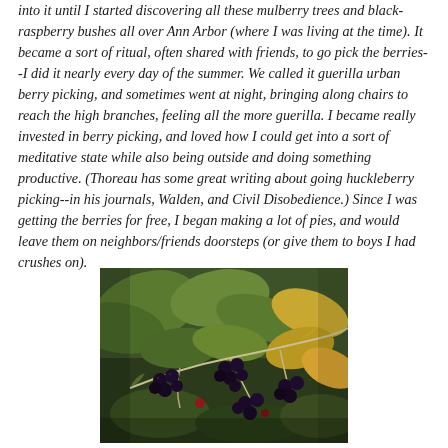into it until I started discovering all these mulberry trees and black-raspberry bushes all over Ann Arbor (where I was living at the time). It became a sort of ritual, often shared with friends, to go pick the berries--I did it nearly every day of the summer. We called it guerilla urban berry picking, and sometimes went at night, bringing along chairs to reach the high branches, feeling all the more guerilla. I became really invested in berry picking, and loved how I could get into a sort of meditative state while also being outside and doing something productive. (Thoreau has some great writing about going huckleberry picking--in his journals, Walden, and Civil Disobedience.) Since I was getting the berries for free, I began making a lot of pies, and would leave them on neighbors/friends doorsteps (or give them to boys I had crushes on).
[Figure (photo): A close-up photograph of wild blackberries growing on a vine with green and yellowing leaves in the background. The berries are dark purple-black, ripe, clustered along slender stems against a natural outdoor backdrop.]